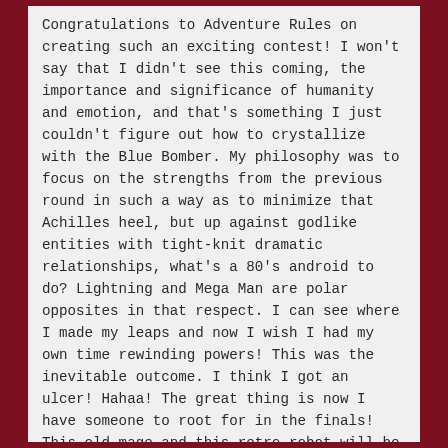Congratulations to Adventure Rules on creating such an exciting contest! I won't say that I didn't see this coming, the importance and significance of humanity and emotion, and that's something I just couldn't figure out how to crystallize with the Blue Bomber. My philosophy was to focus on the strengths from the previous round in such a way as to minimize that Achilles heel, but up against godlike entities with tight-knit dramatic relationships, what's a 80's android to do? Lightning and Mega Man are polar opposites in that respect. I can see where I made my leaps and now I wish I had my own time rewinding powers! This was the inevitable outcome. I think I got an ulcer! Hahaa! The great thing is now I have someone to root for in the finals! This old mage and this retro robot will be there cheering you on all